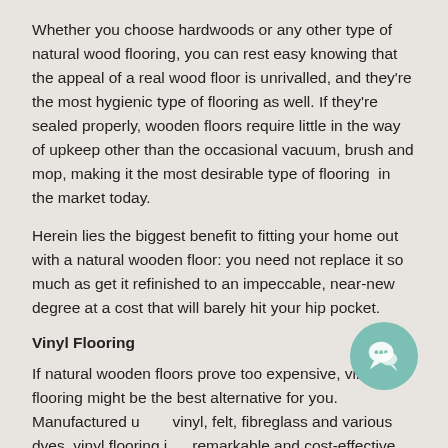Whether you choose hardwoods or any other type of natural wood flooring, you can rest easy knowing that the appeal of a real wood floor is unrivalled, and they're the most hygienic type of flooring as well. If they're sealed properly, wooden floors require little in the way of upkeep other than the occasional vacuum, brush and mop, making it the most desirable type of flooring  in the market today.
Herein lies the biggest benefit to fitting your home out with a natural wooden floor: you need not replace it so much as get it refinished to an impeccable, near-new degree at a cost that will barely hit your hip pocket.
Vinyl Flooring
If natural wooden floors prove too expensive, vinyl flooring might be the best alternative for you. Manufactured using vinyl, felt, fibreglass and various dyes, vinyl flooring is a remarkable and cost-effective option, especially if you're after a type of flooring that is durable and that won't put a dent in